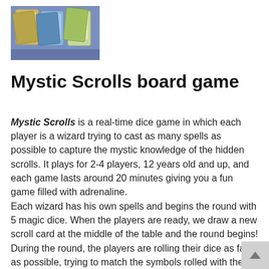[Figure (photo): Photo of Mystic Scrolls board game components, showing cards on a blue surface]
Mystic Scrolls board game
Mystic Scrolls is a real-time dice game in which each player is a wizard trying to cast as many spells as possible to capture the mystic knowledge of the hidden scrolls. It plays for 2-4 players, 12 years old and up, and each game lasts around 20 minutes giving you a fun game filled with adrenaline.
Each wizard has his own spells and begins the round with 5 magic dice. When the players are ready, we draw a new scroll card at the middle of the table and the round begins! During the round, the players are rolling their dice as fast as possible, trying to match the symbols rolled with the symbols depicted on their spell cards to perform the spell, or in the middle scroll